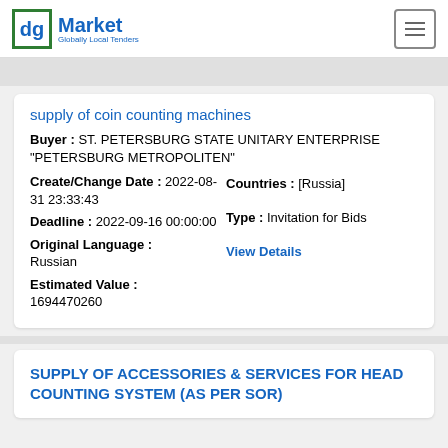dg Market — Globally Local Tenders
supply of coin counting machines
Buyer : ST. PETERSBURG STATE UNITARY ENTERPRISE "PETERSBURG METROPOLITEN"
Create/Change Date : 2022-08-31 23:33:43
Countries : [Russia]
Deadline : 2022-09-16 00:00:00
Type : Invitation for Bids
Original Language : Russian
Estimated Value : 1694470260
View Details
SUPPLY OF ACCESSORIES & SERVICES FOR HEAD COUNTING SYSTEM (AS PER SOR)